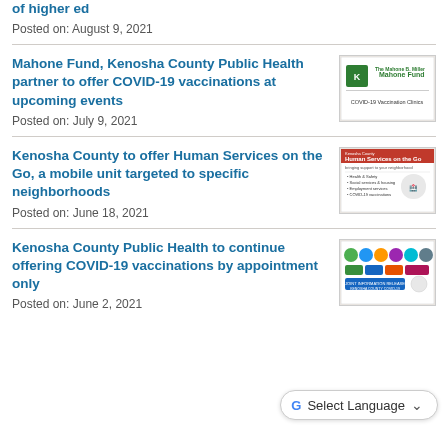of higher ed
Posted on: August 9, 2021
Mahone Fund, Kenosha County Public Health partner to offer COVID-19 vaccinations at upcoming events
Posted on: July 9, 2021
[Figure (logo): Kenosha County and Mahone Fund logos with text COVID-19 Vaccination Clinics]
Kenosha County to offer Human Services on the Go, a mobile unit targeted to specific neighborhoods
Posted on: June 18, 2021
[Figure (screenshot): Human Services on the Go flyer with red header and bullet points]
Kenosha County Public Health to continue offering COVID-19 vaccinations by appointment only
Posted on: June 2, 2021
[Figure (logo): Multiple organization logos for joint information release]